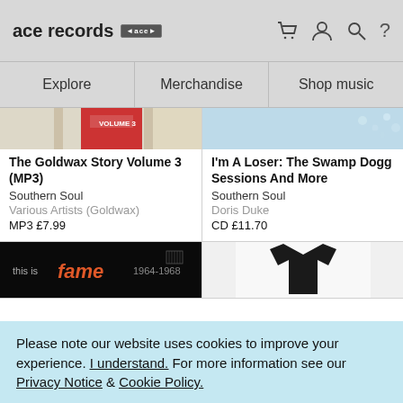ace records [ace logo] [cart icon] [user icon] [search icon] ?
Explore | Merchandise | Shop music
[Figure (photo): Partial album cover for The Goldwax Story Volume 3, reddish spine/center band visible]
The Goldwax Story Volume 3 (MP3)
Southern Soul
Various Artists (Goldwax)
MP3 £7.99
[Figure (photo): Partial album cover for I'm A Loser: The Swamp Dogg Sessions And More, light blue/teal background with small floral elements]
I'm A Loser: The Swamp Dogg Sessions And More
Southern Soul
Doris Duke
CD £11.70
[Figure (photo): This Is Fame album cover, dark background with colorful stylized text]
[Figure (photo): Black t-shirt product image on white/light background]
Please note our website uses cookies to improve your experience. I understand. For more information see our Privacy Notice & Cookie Policy.